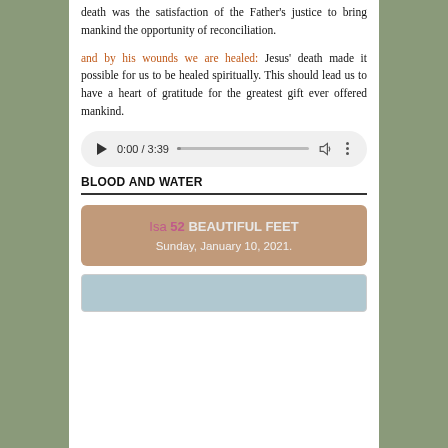death was the satisfaction of the Father's justice to bring mankind the opportunity of reconciliation.
and by his wounds we are healed: Jesus' death made it possible for us to be healed spiritually. This should lead us to have a heart of gratitude for the greatest gift ever offered mankind.
[Figure (other): Audio player showing 0:00 / 3:39 with play button, progress bar, volume and more icons]
BLOOD AND WATER
[Figure (infographic): Tan/brown card with text: Isa 52 BEAUTIFUL FEET, Sunday, January 10, 2021.]
[Figure (photo): Partial image visible at bottom of page]